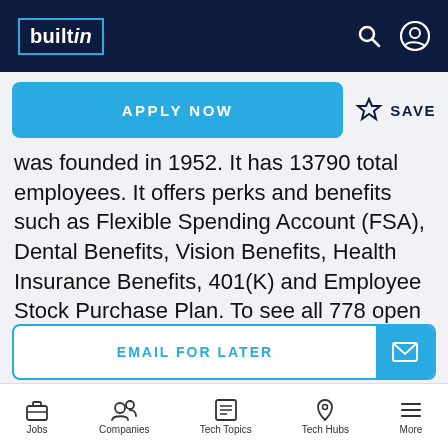builtin
APPLY NOW
SAVE
was founded in 1952. It has 13790 total employees. It offers perks and benefits such as Flexible Spending Account (FSA), Dental Benefits, Vision Benefits, Health Insurance Benefits, 401(K) and Employee Stock Purchase Plan. To see all 778 open jobs at General Dynamics, click here.
EMAIL FOR LATER
Jobs | Companies | Tech Topics | Tech Hubs | More